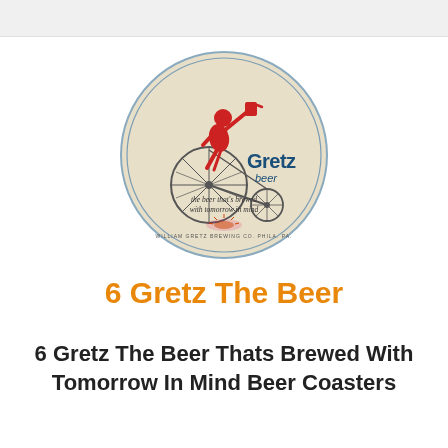[Figure (illustration): Gretz Beer coaster: circular coaster with beige/cream background, a red figure riding a penny-farthing bicycle holding a beer mug, 'Gretz beer' text in blue and red, tagline 'the beer that's brewed with tomorrow in mind', and 'William Gretz Brewing Co. Phila. Pa.' text at bottom]
6 Gretz The Beer
6 Gretz The Beer Thats Brewed With Tomorrow In Mind Beer Coasters